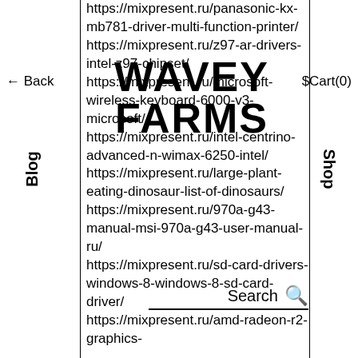← Back | WAVEY FARMS | $Cart(0)
https://mixpresent.ru/panasonic-kx-mb781-driver-multi-function-printer/
https://mixpresent.ru/z97-ar-drivers-intel-z97-chipset/
https://mixpresent.ru/microsoft-wireless-keyboard-6000-v3-microsoft/
https://mixpresent.ru/intel-centrino-advanced-n-wimax-6250-intel/
https://mixpresent.ru/large-plant-eating-dinosaur-list-of-dinosaurs/
https://mixpresent.ru/970a-g43-manual-msi-970a-g43-user-manual-ru/
https://mixpresent.ru/sd-card-drivers-windows-8-windows-8-sd-card-driver/
https://mixpresent.ru/amd-radeon-r2-graphics-
Blog
Shop
Search